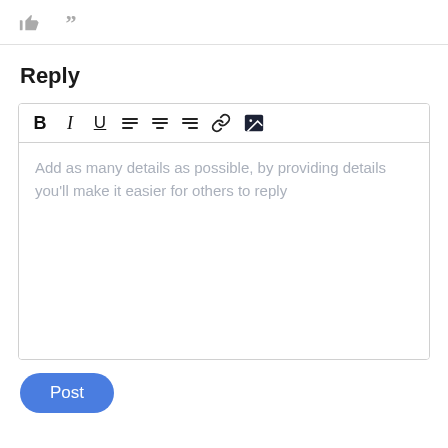[Figure (screenshot): Top toolbar icons: thumbs up and quotation mark icons in gray]
Reply
[Figure (screenshot): Rich text editor with toolbar buttons (Bold, Italic, Underline, align left, align center, align right, link, image) and placeholder text area reading: Add as many details as possible, by providing details you'll make it easier for others to reply]
Add as many details as possible, by providing details you'll make it easier for others to reply
Post